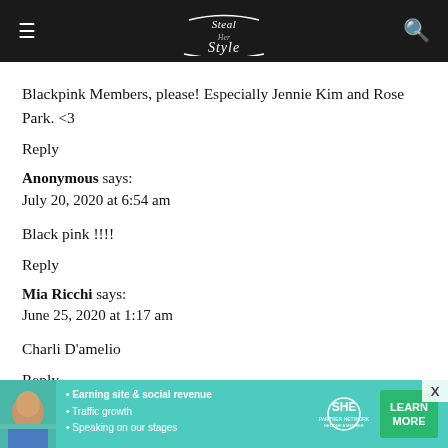Steal Her Style
Blackpink Members, please! Especially Jennie Kim and Rose Park. <3
Reply
Anonymous says:
July 20, 2020 at 6:54 am
Black pink !!!!
Reply
Mia Ricchi says:
June 25, 2020 at 1:17 am
Charli D'amelio
Reply
[Figure (infographic): SHE Partner Network advertisement banner with woman photo, bullet points about earning site & social revenue, traffic growth, speaking on our stages, and a Learn More button]